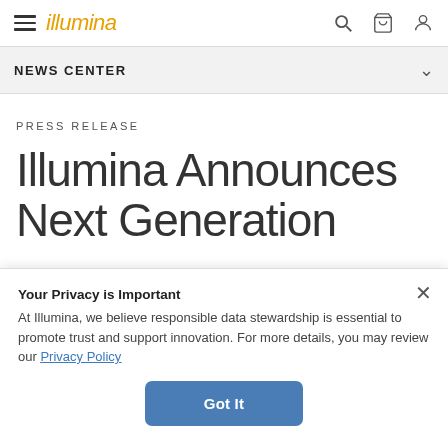illumina [navigation bar with hamburger menu, search, cart, and user icons]
NEWS CENTER
PRESS RELEASE
Illumina Announces Next Generation
Your Privacy is Important
At Illumina, we believe responsible data stewardship is essential to promote trust and support innovation. For more details, you may review our Privacy Policy
Got It